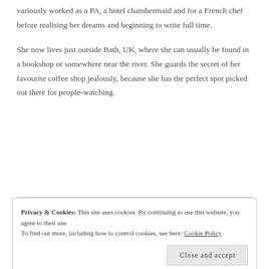variously worked as a PA, a hotel chambermaid and for a French chef before realising her dreams and beginning to write full time.
She now lives just outside Bath, UK, where she can usually be found in a bookshop or somewhere near the river. She guards the secret of her favourite coffee shop jealously, because she has the perfect spot picked out there for people-watching.
Privacy & Cookies: This site uses cookies. By continuing to use this website, you agree to their use. To find out more, including how to control cookies, see here: Cookie Policy